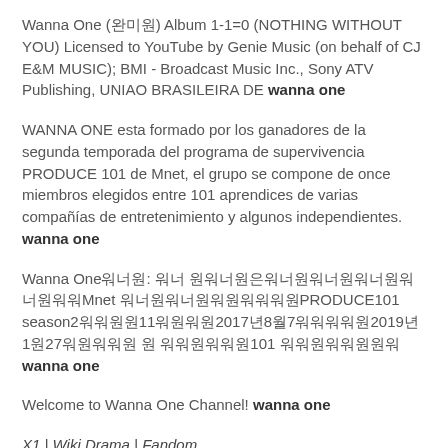Wanna One (완미원) Album 1-1=0 (NOTHING WITHOUT YOU) Licensed to YouTube by Genie Music (on behalf of CJ E&M MUSIC); BMI - Broadcast Music Inc., Sony ATV Publishing, UNIAO BRASILEIRA DE wanna one
WANNA ONE esta formado por los ganadores de la segunda temporada del programa de supervivencia PRODUCE 101 de Mnet, el grupo se compone de once miembros elegidos entre 101 aprendices de varias compañías de entretenimiento y algunos independientes. wanna one
Wanna One워너원: 워너 원워너원은워너원워너원워너원워너원워워Mnet 워너원워너원워원워워워원PRODUCE101 season2워워원원11워원워원2017년8월7워워워워원2019년1원27워원워워원 원 워워원워워원101 워워원워워원원워 wanna one
Welcome to Wanna One Channel! wanna one
X1 | Wiki Drama | Fandom